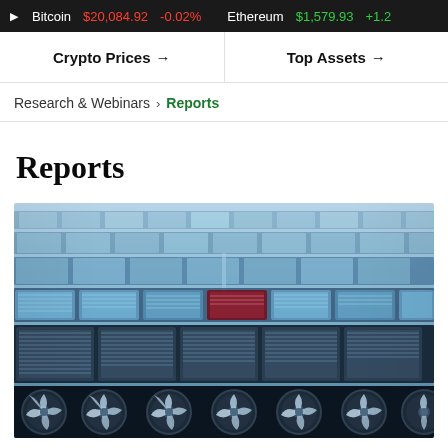Bitcoin $20,084.92 -0.02%  Ethereum $1,579.93 +1.2
Crypto Prices →   Top Assets →
Research & Webinars  >  Reports
Reports
[Figure (photo): Rows of cryptocurrency mining rigs with GPU cards and cooling fans in a data center, blue-tinted industrial photo]